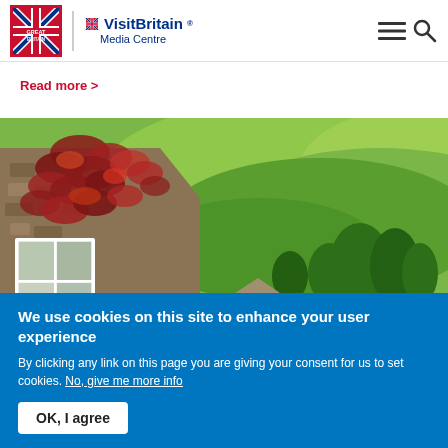Great Britain | VisitBritain Media Centre
Read more >
[Figure (photo): A stone cottage with red ivy climbing the walls and a white sash window, with rolling green hills, trees, and countryside in the background.]
We use cookies on this site to enhance your user experience
By clicking any link on this page you are giving your consent for us to set cookies. No, give me more info
OK, I agree